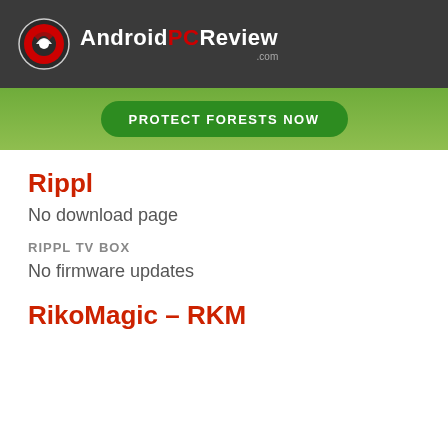AndroidPCReview.com
[Figure (illustration): Green forest advertisement banner with 'PROTECT FORESTS NOW' button]
Rippl
No download page
RIPPL TV BOX
No firmware updates
RikoMagic – RKM